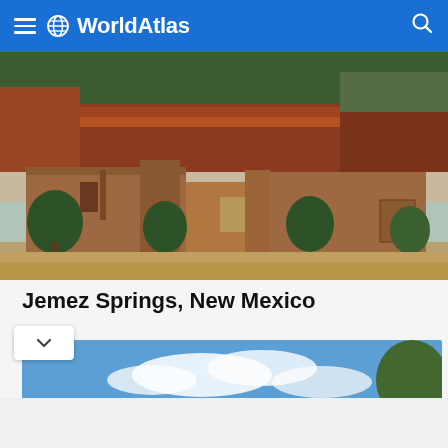WorldAtlas
[Figure (photo): Panoramic photo of adobe/brick ruins of an ancient pueblo structure in Jemez Springs, New Mexico, with red sandstone cliffs and green pine-covered mountains in the background under an overcast sky.]
Jemez Springs, New Mexico
[Figure (photo): Partial photo showing a sign reading 'CHIMAYO' against a blue sky with white clouds and green trees on the right side.]